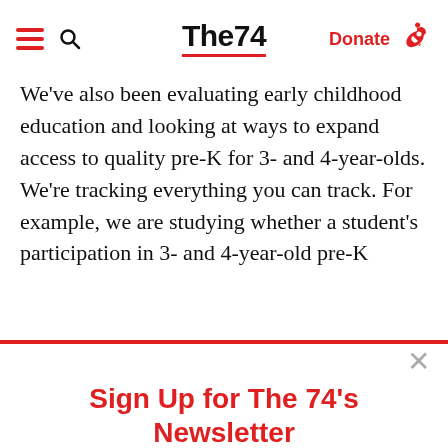The74 — Donate
We've also been evaluating early childhood education and looking at ways to expand access to quality pre-K for 3- and 4-year-olds. We're tracking everything you can track. For example, we are studying whether a student's participation in 3- and 4-year-old pre-K
Sign Up for The 74's Newsletter
Get the best of The 74's education news, analysis and commentary in your inbox each weekday morning.
Subscribe